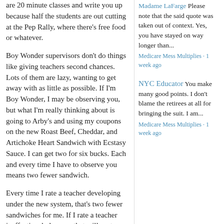are 20 minute classes and write you up because half the students are out cutting at the Pep Rally, where there's free food or whatever.
Boy Wonder supervisors don't do things like giving teachers second chances. Lots of them are lazy, wanting to get away with as little as possible. If I'm Boy Wonder, I may be observing you, but what I'm really thinking about is going to Arby's and using my coupons on the new Roast Beef, Cheddar, and Artichoke Heart Sandwich with Ecstasy Sauce. I can get two for six bucks. Each and every time I have to observe you means two fewer sandwich.
Every time I rate a teacher developing under the new system, that's two fewer sandwiches for me. If I rate a teacher ineffective, holy crap, that will cost me six sandwiches. Oh, and if I hire a new teacher instead of an ATR, that's four sandwiches a year, for each one, and for four years! So by using this new program, we give Boy Wonder an incentive to sit at Arby's, eat whatever that thing in the photo may be, and leave you alone.
On the other hand, there is a possibility, believe
Madame LaFarge Please note that the said quote was taken out of context. Yes, you have stayed on way longer than...
Medicare Mess Multiplies · 1 week ago
NYC Educator You make many good points. I don't blame the retirees at all for bringing the suit. I am...
Medicare Mess Multiplies · 1 week ago